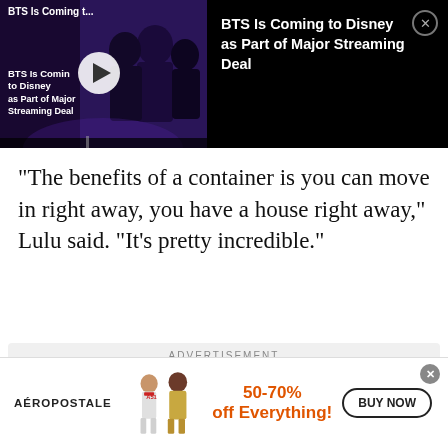[Figure (screenshot): Video thumbnail showing BTS members in formal wear with play button overlay, dark purple/black background, with text 'BTS Is Coming t...' at top and 'BTS Is Coming to Disney as Part of Major Streaming Deal' at bottom left]
BTS Is Coming to Disney as Part of Major Streaming Deal
“The benefits of a container is you can move in right away, you have a house right away,” Lulu said. “It’s pretty incredible.”
ADVERTISEMENT
[Figure (screenshot): Blue advertisement banner for Leesburg Premium Outlets]
[Figure (screenshot): Bottom advertisement bar for Aéropostale showing 50-70% off Everything with BUY NOW button]